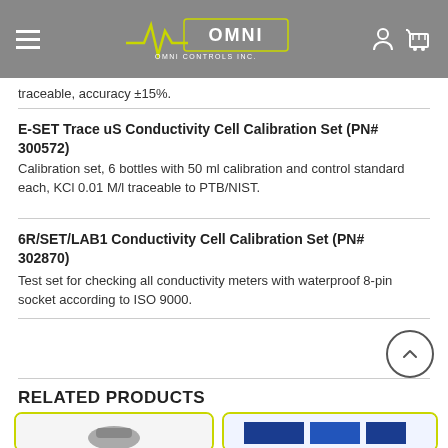OMNI CONTROLS INC.
traceable, accuracy ±15%.
E-SET Trace uS Conductivity Cell Calibration Set (PN# 300572)
Calibration set, 6 bottles with 50 ml calibration and control standard each, KCl 0.01 M/l traceable to PTB/NIST.
6R/SET/LAB1 Conductivity Cell Calibration Set (PN# 302870)
Test set for checking all conductivity meters with waterproof 8-pin socket according to ISO 9000.
RELATED PRODUCTS
[Figure (photo): Product image card 1 - gray device]
[Figure (photo): Product image card 2 - blue and white product]